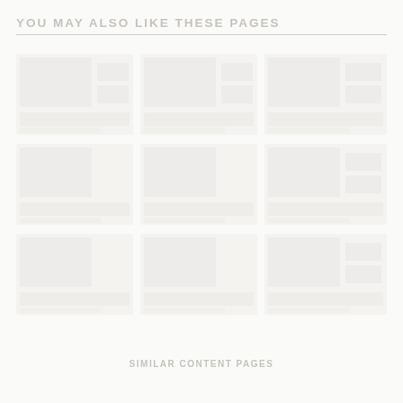YOU MAY ALSO LIKE THESE PAGES
[Figure (photo): A very faint, nearly white page showing a collection of scientific or nature-related thumbnail images arranged in a grid layout. The images are extremely light/washed out, barely visible against the white background.]
SIMILAR CONTENT PAGES